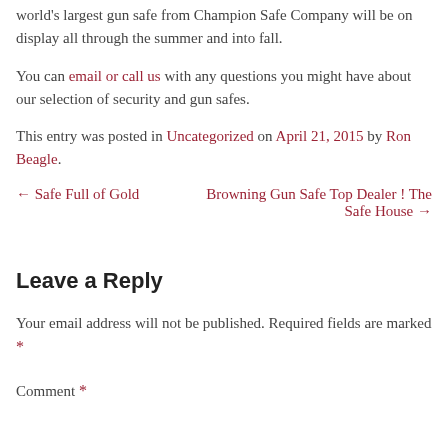world's largest gun safe from Champion Safe Company will be on display all through the summer and into fall.
You can email or call us with any questions you might have about our selection of security and gun safes.
This entry was posted in Uncategorized on April 21, 2015 by Ron Beagle.
← Safe Full of Gold   Browning Gun Safe Top Dealer ! The Safe House →
Leave a Reply
Your email address will not be published. Required fields are marked *
Comment *